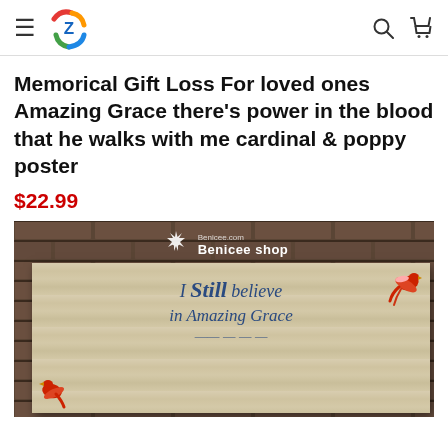Navigation header with hamburger menu, logo, search icon, and cart icon
Memorical Gift Loss For loved ones Amazing Grace there's power in the blood that he walks with me cardinal & poppy poster
$22.99
[Figure (photo): Product photo of a wooden sign poster displayed against a dark brick wall background. The sign reads 'I Still believe in Amazing Grace' in blue cursive/italic lettering with red cardinal birds. Benicee shop logo and branding visible at top of image.]